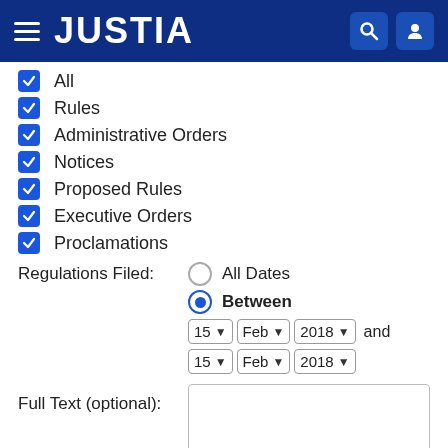JUSTIA
All
Rules
Administrative Orders
Notices
Proposed Rules
Executive Orders
Proclamations
Regulations Filed:
All Dates
Between
15 Feb 2018 and 15 Feb 2018
Full Text (optional):